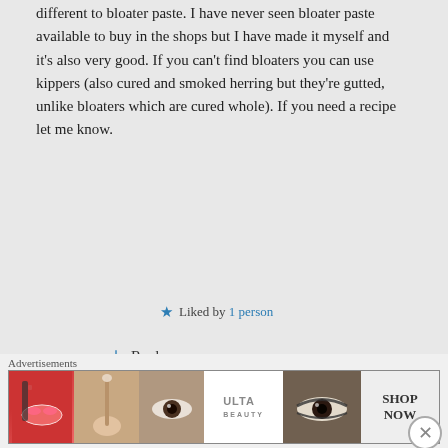different to bloater paste. I have never seen bloater paste available to buy in the shops but I have made it myself and it's also very good. If you can't find bloaters you can use kippers (also cured and smoked herring but they're gutted, unlike bloaters which are cured whole). If you need a recipe let me know.
★ Liked by 1 person
↳ Reply
eric11105 on 30/01/2021 at 2:29 am
[Figure (infographic): Advertisements banner with makeup and beauty product images including lips, brush, eye, ULTA logo, smoky eye look, and SHOP NOW button]